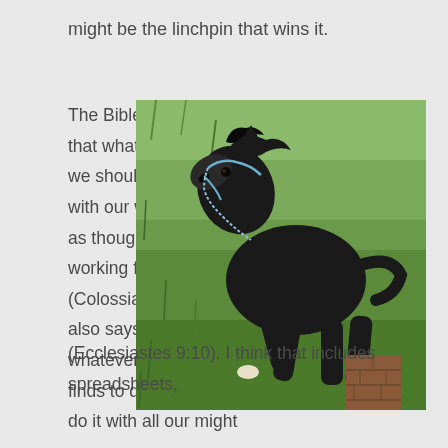might be the linchpin that wins it.
The Bible urges us that whatever we do, we should work at it with our whole heart, as though we are working for the Lord (Colossians 3:23). It also says that whatever our hand finds to do, we are to do it with all our might (Ecclesiastes 9:10). I think that includes spreadsheets,
[Figure (photo): A black horse figurine/toy with a blue chain bridle, rearing up on its hind legs, photographed outdoors on green grass with a small brick structure visible below.]